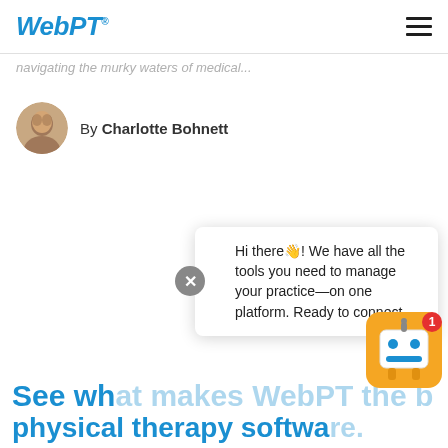WebPT®
navigating the murky waters of medical...
By Charlotte Bohnett
Hi there👋! We have all the tools you need to manage your practice—on one platform. Ready to connect...
See wh... b... physical therapy softwa...